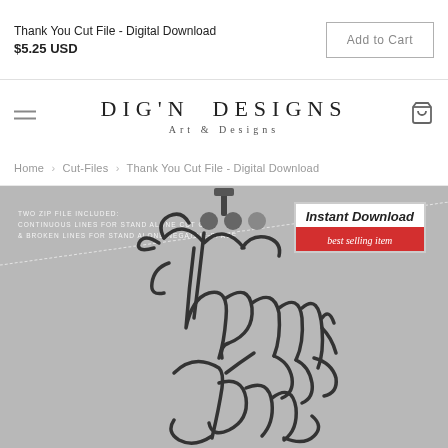Thank You Cut File - Digital Download
$5.25 USD
Add to Cart
[Figure (logo): DIG'N DESIGNS Art & Designs brand logo with hamburger menu icon and cart icon]
Home › Cut-Files › Thank You Cut File - Digital Download
[Figure (photo): Product image on grey background showing an ornate calligraphic Thank You cut file design hanging on a dotted line, with overlay text about zip files included and an Instant Download best selling item badge]